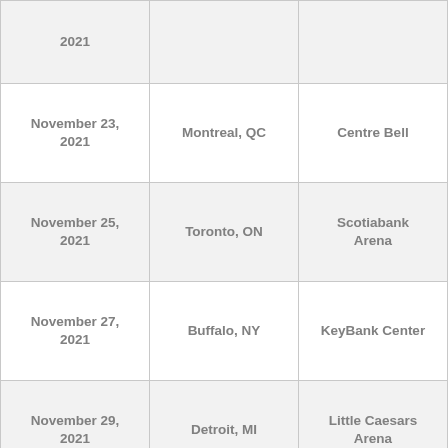| Date | City | Venue |
| --- | --- | --- |
| 2021 |  |  |
| November 23, 2021 | Montreal, QC | Centre Bell |
| November 25, 2021 | Toronto, ON | Scotiabank Arena |
| November 27, 2021 | Buffalo, NY | KeyBank Center |
| November 29, 2021 | Detroit, MI | Little Caesars Arena |
| November 30, 2021 | Cleveland, OH | Rocket Mortgage FieldHouse |